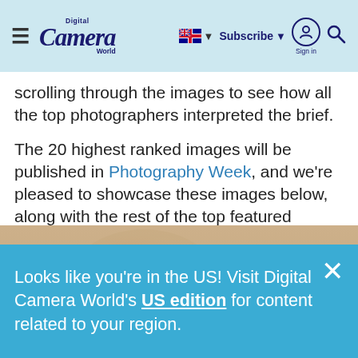Digital Camera World — hamburger menu, Australian flag, Subscribe, Sign in, Search
scrolling through the images to see how all the top photographers interpreted the brief.
The 20 highest ranked images will be published in Photography Week, and we're pleased to showcase these images below, along with the rest of the top featured photographs in the gallery that follows.
[Figure (photo): Photograph of a bird (heron/egret) in flight against a warm golden/orange blurred background (sunset or golden hour)]
Looks like you're in the US! Visit Digital Camera World's US edition for content related to your region.